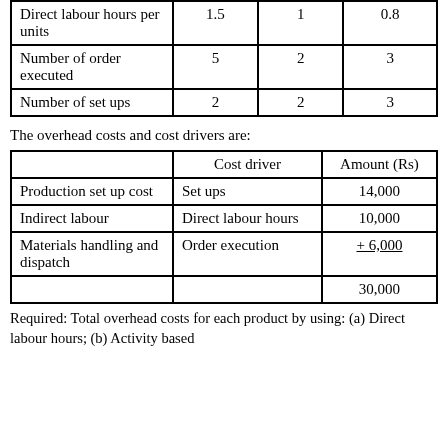|  | Product A | Product B | Product C |
| --- | --- | --- | --- |
| Direct labour hours per units | 1.5 | 1 | 0.8 |
| Number of order executed | 5 | 2 | 3 |
| Number of set ups | 2 | 2 | 3 |
The overhead costs and cost drivers are:
|  | Cost driver | Amount (Rs) |
| --- | --- | --- |
| Production set up cost | Set ups | 14,000 |
| Indirect labour | Direct labour hours | 10,000 |
| Materials handling and dispatch | Order execution | + 6,000 |
|  |  | 30,000 |
Required: Total overhead costs for each product by using: (a) Direct labour hours; (b) Activity based